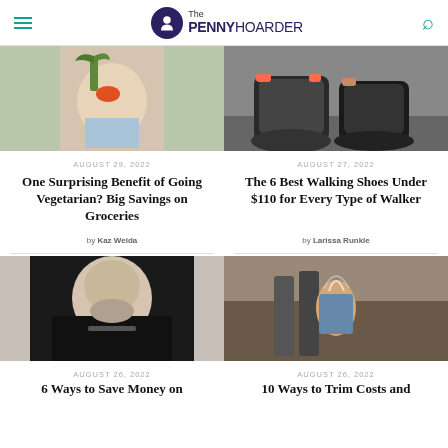The PENNY HOARDER
[Figure (photo): Woman biting into a carrot]
[Figure (photo): Running shoes on pavement]
AUGUST 29, 2022
One Surprising Benefit of Going Vegetarian? Big Savings on Groceries
by Kaz Weida
AUGUST 27, 2022
The 6 Best Walking Shoes Under $110 for Every Type of Walker
by Larissa Runkle
[Figure (photo): Elderly man looking at small coin through glasses]
[Figure (photo): Man doing DIY work with sparks flying]
AUGUST 26, 2022
6 Ways to Save Money on
AUGUST 26, 2022
10 Ways to Trim Costs and